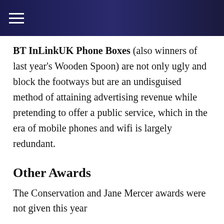≡ (navigation menu icon)
BT InLinkUK Phone Boxes (also winners of last year's Wooden Spoon) are not only ugly and block the footways but are an undisguised method of attaining advertising revenue while pretending to offer a public service, which in the era of mobile phones and wifi is largely redundant.
Other Awards
The Conservation and Jane Mercer awards were not given this year
For further information, please contact: